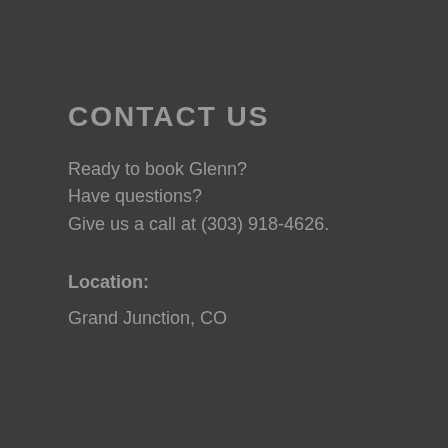CONTACT US
Ready to book Glenn?
Have questions?
Give us a call at (303) 918-4626.
Location:
Grand Junction, CO